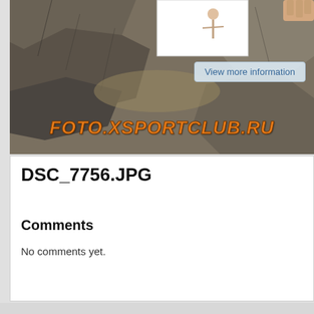[Figure (photo): Outdoor rock climbing photo with rocky terrain in the foreground and a small inset photo at top center showing a person holding something. A 'View more information' button overlay appears in the center-right of the image. A watermark 'FOTO.XSPORTCLUB.RU' is displayed in orange italic text across the lower portion of the photo.]
DSC_7756.JPG
Comments
No comments yet.